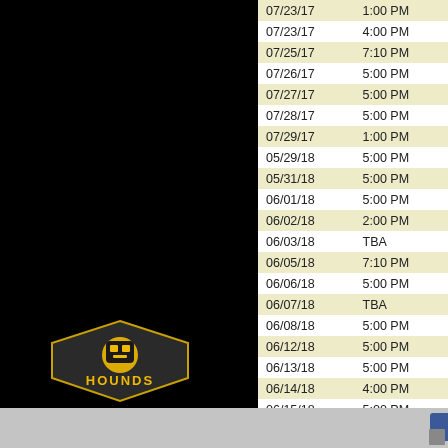[Figure (other): Black panel on the left side of the page, with Pittsburgh Hounds logo at the bottom]
| Date | Time |
| --- | --- |
| 07/23/17 | 1:00 PM |
| 07/23/17 | 4:00 PM |
| 07/25/17 | 7:10 PM |
| 07/26/17 | 5:00 PM |
| 07/27/17 | 5:00 PM |
| 07/28/17 | 5:00 PM |
| 07/29/17 | 1:00 PM |
| 05/29/18 | 5:00 PM |
| 05/31/18 | 5:00 PM |
| 06/01/18 | 5:00 PM |
| 06/02/18 | 2:00 PM |
| 06/03/18 | TBA |
| 06/05/18 | 7:10 PM |
| 06/06/18 | 5:00 PM |
| 06/07/18 | TBA |
| 06/08/18 | 5:00 PM |
| 06/12/18 | 5:00 PM |
| 06/13/18 | 5:00 PM |
| 06/14/18 | 4:00 PM |
| 06/15/18 | 5:00 PM |
| 06/16/18 | 6:10 PM |
| 06/17/18 | 1:00 PM |
Pittsburgh Hounds logo and social media icons